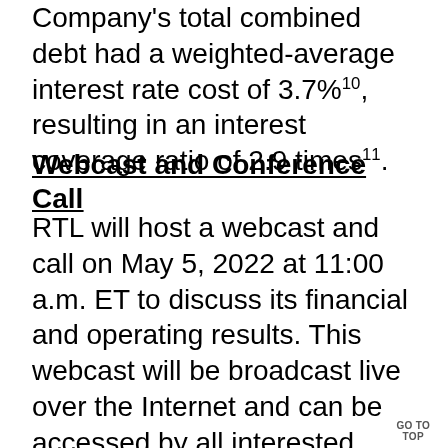Company's total combined debt had a weighted-average interest rate cost of 3.7%10, resulting in an interest coverage ratio of 2.9 times11.
Webcast and Conference Call
RTL will host a webcast and call on May 5, 2022 at 11:00 a.m. ET to discuss its financial and operating results. This webcast will be broadcast live over the Internet and can be accessed by all interested parties through the RTL website, www.necessityretailreit.com, in the "Investor Relations" section.
GO TO TOP